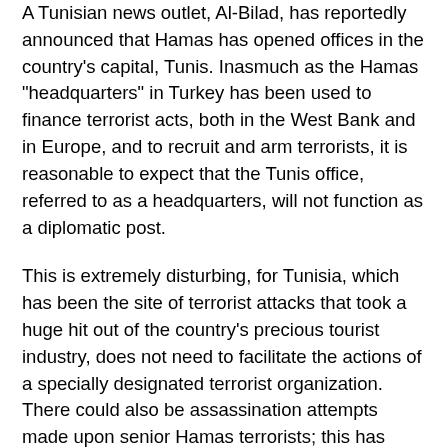A Tunisian news outlet, Al-Bilad, has reportedly announced that Hamas has opened offices in the country's capital, Tunis. Inasmuch as the Hamas "headquarters" in Turkey has been used to finance terrorist acts, both in the West Bank and in Europe, and to recruit and arm terrorists, it is reasonable to expect that the Tunis office, referred to as a headquarters, will not function as a diplomatic post.
This is extremely disturbing, for Tunisia, which has been the site of terrorist attacks that took a huge hit out of the country's precious tourist industry, does not need to facilitate the actions of a specially designated terrorist organization. There could also be assassination attempts made upon senior Hamas terrorists; this has occurred several times in the Middle East, and one wonders whether the Government of Tunisia has considered that Hams could be targeted in Tunis.
From a compliance standpoint, it raises risk levels for American banks whose clients include exporters to Tunisia, especially dual-use goods, which could easily be ordered by front companies, and delivered to Hamas, for further